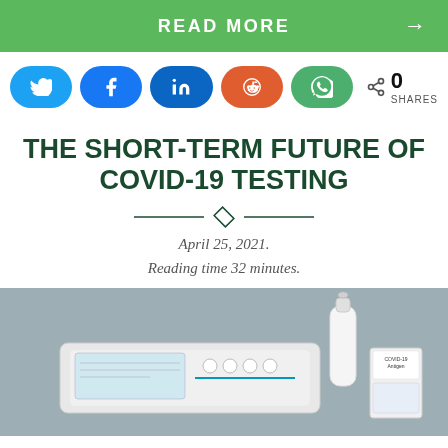READ MORE →
[Figure (infographic): Social media share buttons: Twitter, Facebook, LinkedIn, Reddit, WhatsApp, and a shares counter showing 0 SHARES]
THE SHORT-TERM FUTURE OF COVID-19 TESTING
April 25, 2021.
Reading time 32 minutes.
[Figure (photo): Photo of a COVID-19 antigen rapid test kit on a grey background, showing test cassette, dropper bottle, and a small box labeled COVID-19 Antigen]